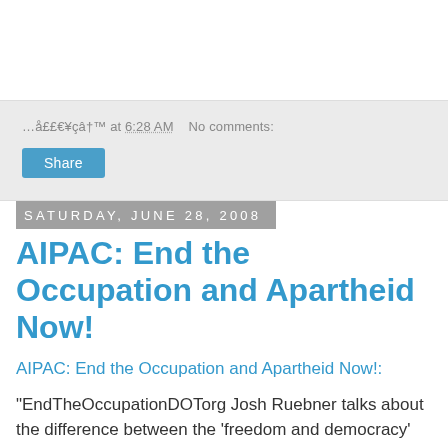…å££€¥çâ†™ at 6:28 AM   No comments:
Share
Saturday, June 28, 2008
AIPAC: End the Occupation and Apartheid Now!
AIPAC: End the Occupation and Apartheid Now!:
"EndTheOccupationDOTorg Josh Ruebner talks about the difference between the 'freedom and democracy' rhetoric at the Jun 2008 APIAC conference and the reality that the occupation of Palestine has created."